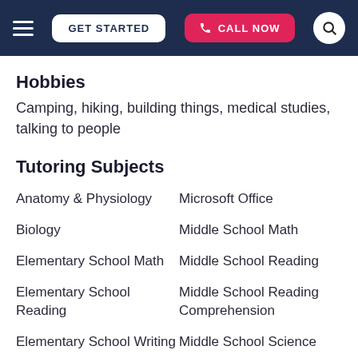GET STARTED | CALL NOW
Hobbies
Camping, hiking, building things, medical studies, talking to people
Tutoring Subjects
Anatomy & Physiology
Microsoft Office
Biology
Middle School Math
Elementary School Math
Middle School Reading
Elementary School Reading
Middle School Reading Comprehension
Elementary School Writing
Middle School Science